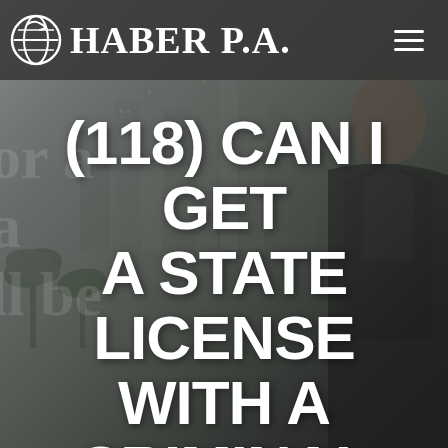[Figure (photo): Background photo of a man in a suit with city skyline (skyscrapers) behind him, dark muted tones]
HABER P.A.
(118) CAN I GET A STATE LICENSE WITH A CRIMINAL